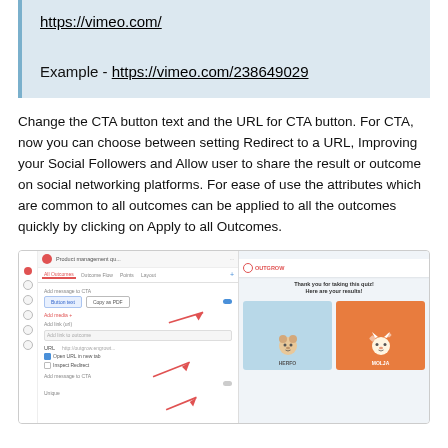https://vimeo.com/

Example - https://vimeo.com/238649029
Change the CTA button text and the URL for CTA button. For CTA, now you can choose between setting Redirect to a URL, Improving your Social Followers and Allow user to share the result or outcome on social networking platforms. For ease of use the attributes which are common to all outcomes can be applied to all the outcomes quickly by clicking on Apply to all Outcomes.
[Figure (screenshot): Screenshot of a quiz builder interface showing outcome settings panel on the left with CTA button and URL fields, and a preview panel on the right showing 'OUTGROW' logo, 'Thank you for taking this quiz! Here are your results!' text and two character cards. Red arrows point to toggle and checkbox UI elements.]